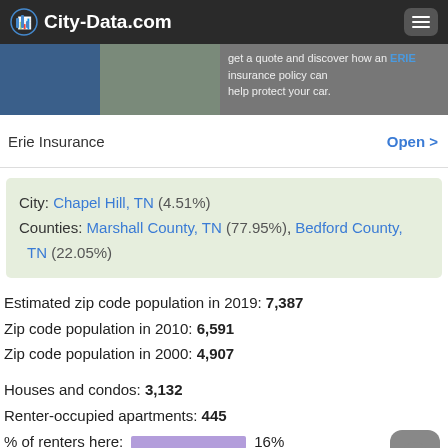City-Data.com — Insurance advertisement header with Erie Insurance and menu icon
Erie Insurance   Open >
City: Chapel Hill, TN (4.51%)
Counties: Marshall County, TN (77.95%), Bedford County, TN (22.05%)
Estimated zip code population in 2019: 7,387
Zip code population in 2010: 6,591
Zip code population in 2000: 4,907
Houses and condos: 3,132
Renter-occupied apartments: 445
% of renters here:   16%
State:   33%